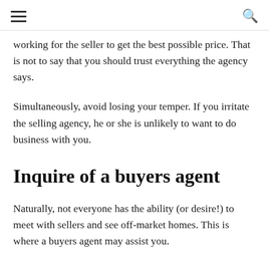☰  🔍
working for the seller to get the best possible price. That is not to say that you should trust everything the agency says.
Simultaneously, avoid losing your temper. If you irritate the selling agency, he or she is unlikely to want to do business with you.
Inquire of a buyers agent
Naturally, not everyone has the ability (or desire!) to meet with sellers and see off-market homes. This is where a buyers agent may assist you.